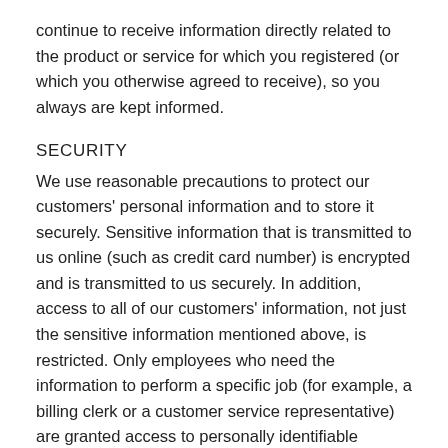continue to receive information directly related to the product or service for which you registered (or which you otherwise agreed to receive), so you always are kept informed.
SECURITY
We use reasonable precautions to protect our customers' personal information and to store it securely. Sensitive information that is transmitted to us online (such as credit card number) is encrypted and is transmitted to us securely. In addition, access to all of our customers' information, not just the sensitive information mentioned above, is restricted. Only employees who need the information to perform a specific job (for example, a billing clerk or a customer service representative) are granted access to personally identifiable information. Finally, the servers on which we store personally identifiable information are